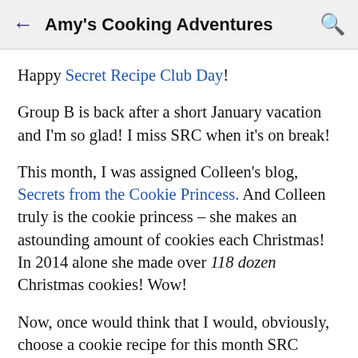← Amy's Cooking Adventures 🔍
Happy Secret Recipe Club Day!
Group B is back after a short January vacation and I'm so glad!  I miss SRC when it's on break!
This month, I was assigned Colleen's blog, Secrets from the Cookie Princess.  And Colleen truly is the cookie princess – she makes an astounding amount of cookies each Christmas!  In 2014 alone she made over 118 dozen Christmas cookies!  Wow!
Now, once would think that I would, obviously, choose a cookie recipe for this month SRC reveal.
Well…I didn't, but I did choose something sweet, her Salted Caramel Pretzel Bark.  Then due to a serious lack of reading comprehension on my part, I completely messed up the recipe.  It was still delicious, but it really wasn't Colleen's recipe.